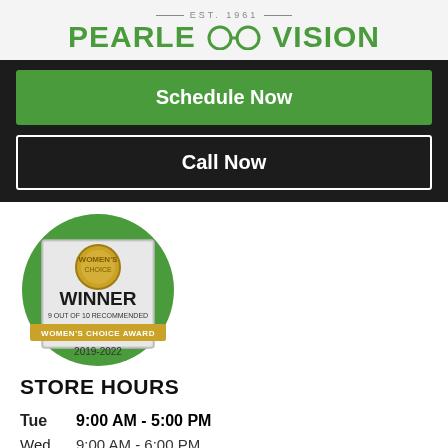[Figure (logo): Pearle Vision logo with EST. 1961 tagline and stylized glasses icon in green]
Schedule Now
Call Now
[Figure (illustration): Women's Choice Award badge: WINNER, 9 OUT OF 10 RECOMMENDED, WOMEN'S CHOICE AWARD, 2019-2022, on a green circular background]
STORE HOURS
Tue   9:00 AM - 5:00 PM
Wed  9:00 AM - 6:00 PM
Thu   9:00 AM - 6:00 PM